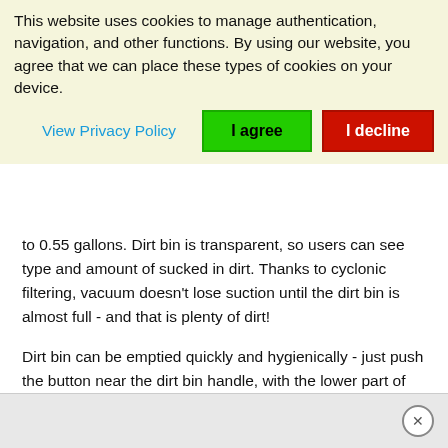This website uses cookies to manage authentication, navigation, and other functions. By using our website, you agree that we can place these types of cookies on your device.
View Privacy Policy
I agree
I decline
to 0.55 gallons. Dirt bin is transparent, so users can see type and amount of sucked in dirt. Thanks to cyclonic filtering, vacuum doesn't lose suction until the dirt bin is almost full - and that is plenty of dirt!
Dirt bin can be emptied quickly and hygienically - just push the button near the dirt bin handle, with the lower part of the dirt bin in trash can, and that's it!
Dyson Ball Allergy comes with 0.55 gal dirt bin.